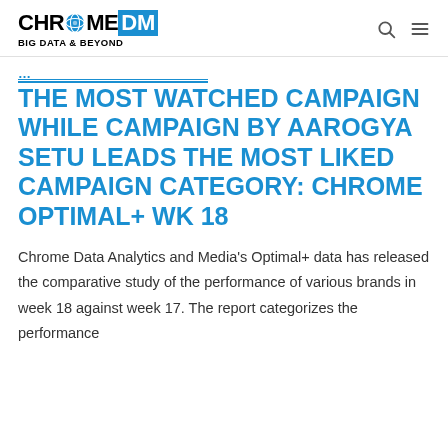CHROME DM BIG DATA & BEYOND
THE MOST WATCHED CAMPAIGN WHILE CAMPAIGN BY AAROGYA SETU LEADS THE MOST LIKED CAMPAIGN CATEGORY: CHROME OPTIMAL+ WK 18
Chrome Data Analytics and Media's Optimal+ data has released the comparative study of the performance of various brands in week 18 against week 17. The report categorizes the performance